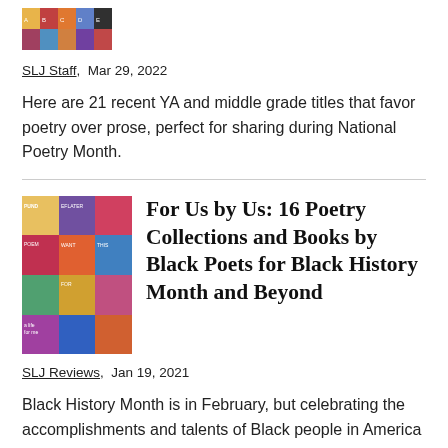[Figure (photo): Grid of colorful book covers for YA and middle grade poetry titles]
SLJ Staff,  Mar 29, 2022
Here are 21 recent YA and middle grade titles that favor poetry over prose, perfect for sharing during National Poetry Month.
[Figure (photo): Collage of book covers for poetry collections by Black poets]
For Us by Us: 16 Poetry Collections and Books by Black Poets for Black History Month and Beyond
SLJ Reviews,  Jan 19, 2021
Black History Month is in February, but celebrating the accomplishments and talents of Black people in America and across the diaspora shouldn't be